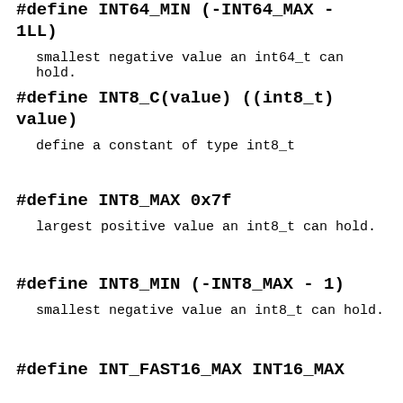#define INT64_MIN (-INT64_MAX - 1LL)
smallest negative value an int64_t can hold.
#define INT8_C(value) ((int8_t) value)
define a constant of type int8_t
#define INT8_MAX 0x7f
largest positive value an int8_t can hold.
#define INT8_MIN (-INT8_MAX - 1)
smallest negative value an int8_t can hold.
#define INT_FAST16_MAX INT16_MAX